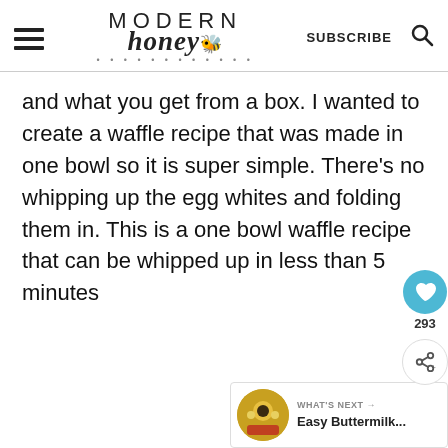Modern Honey — SUBSCRIBE
and what you get from a box. I wanted to create a waffle recipe that was made in one bowl so it is super simple. There's no whipping up the egg whites and folding them in. This is a one bowl waffle recipe that can be whipped up in less than 5 minutes
[Figure (infographic): Heart/like button showing 293 likes, and a share button, floating on the right side of the page]
[Figure (infographic): What's Next widget showing a circular food photo and text: Easy Buttermilk...]